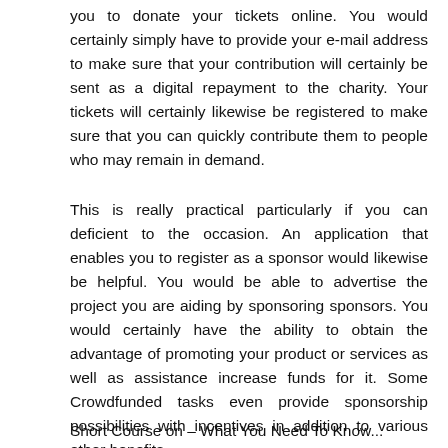you to donate your tickets online. You would certainly simply have to provide your e-mail address to make sure that your contribution will certainly be sent as a digital repayment to the charity. Your tickets will certainly likewise be registered to make sure that you can quickly contribute them to people who may remain in demand.
This is really practical particularly if you can deficient to the occasion. An application that enables you to register as a sponsor would likewise be helpful. You would be able to advertise the project you are aiding by sponsoring sponsors. You would certainly have the ability to obtain the advantage of promoting your product or services as well as assistance increase funds for it. Some Crowdfunded tasks even provide sponsorship possibilities with incentives in addition to various other benefits.
Short Course on – What You Need To Know...